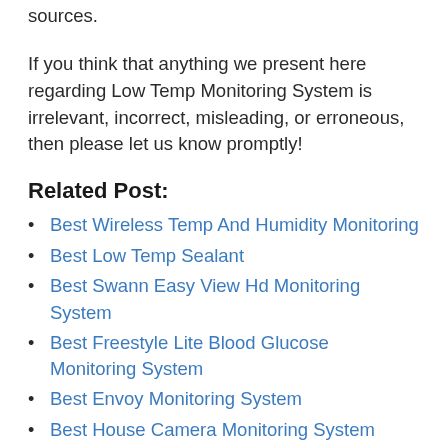sources.
If you think that anything we present here regarding Low Temp Monitoring System is irrelevant, incorrect, misleading, or erroneous, then please let us know promptly!
Related Post:
Best Wireless Temp And Humidity Monitoring
Best Low Temp Sealant
Best Swann Easy View Hd Monitoring System
Best Freestyle Lite Blood Glucose Monitoring System
Best Envoy Monitoring System
Best House Camera Monitoring System